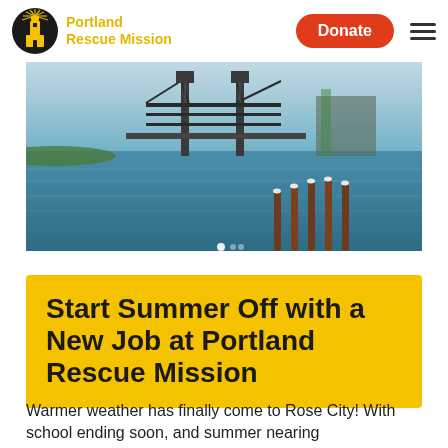Portland Rescue Mission
[Figure (photo): A photograph of a Portland waterway with a steel bridge (likely the Steel Bridge) in the background, blue water reflecting the sky, and wooden dock pilings in the foreground.]
Start Summer Off with a New Job at Portland Rescue Mission
Warmer weather has finally come to Rose City! With school ending soon, and summer nearing